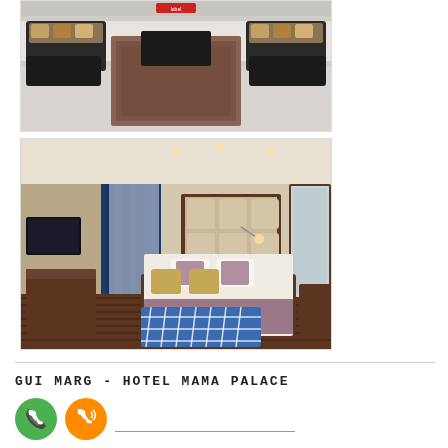[Figure (photo): Hotel lobby/lounge area with dark wooden furniture, sofas, chairs, and a long decorative carpet runner on white marble floor]
[Figure (photo): Hotel room with large bed, blue curtains, dark hardwood floor, blue geometric rug, mirror, TV, and modern decor]
GUI MARG - HOTEL MAMA PALACE
[Figure (other): Green phone call icon (circular green button with white phone handset)]
[Figure (other): Orange phone call icon (circular orange button with white phone handset and signal waves)]